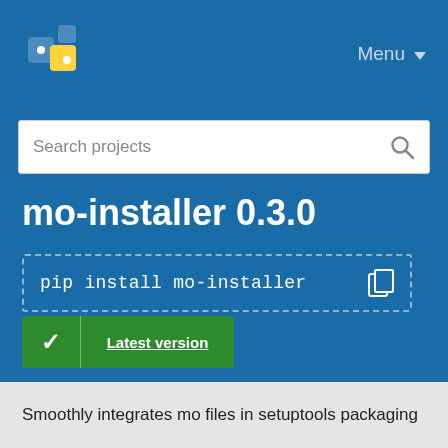PyPI logo / Menu
Search projects
mo-installer 0.3.0
pip install mo-installer
Latest version
Released: Dec 6, 2018
Smoothly integrates mo files in setuptools packaging